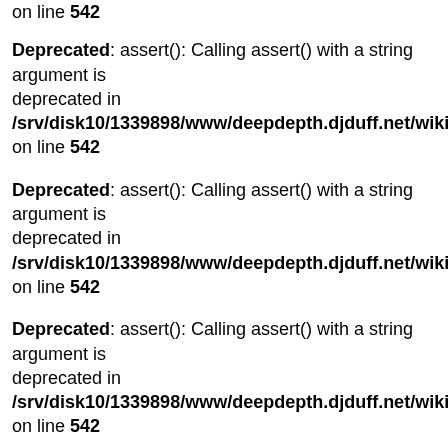on line 542
Deprecated: assert(): Calling assert() with a string argument is deprecated in /srv/disk10/1339898/www/deepdepth.djduff.net/wiki/includes/par on line 542
Deprecated: assert(): Calling assert() with a string argument is deprecated in /srv/disk10/1339898/www/deepdepth.djduff.net/wiki/includes/par on line 542
Deprecated: assert(): Calling assert() with a string argument is deprecated in /srv/disk10/1339898/www/deepdepth.djduff.net/wiki/includes/par on line 542
Deprecated: assert(): Calling assert() with a string argument is deprecated in /srv/disk10/1339898/www/deepdepth.djduff.net/wiki/includes/par on line 542
Deprecated: assert(): Calling assert() with a string argument is deprecated in /srv/disk10/1339898/www/deepdepth.djduff.net/wiki/includes/par